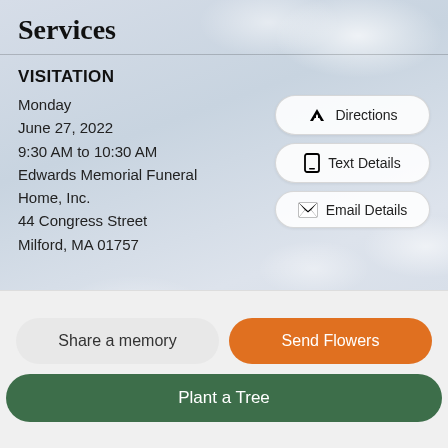Services
VISITATION
Monday
June 27, 2022
9:30 AM to 10:30 AM
Edwards Memorial Funeral Home, Inc.
44 Congress Street
Milford, MA 01757
Directions
Text Details
Email Details
MASS OF CHRISTIAN
Share a memory
Send Flowers
Plant a Tree